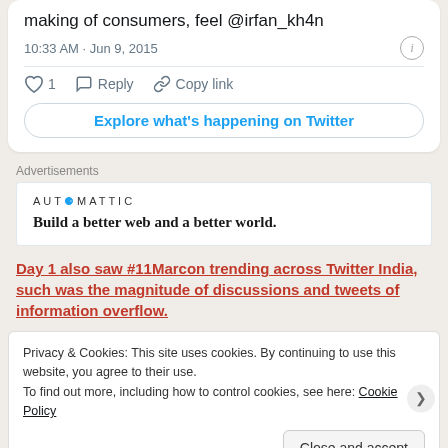making of consumers, feel @irfan_kh4n
10:33 AM · Jun 9, 2015
1  Reply  Copy link
Explore what's happening on Twitter
Advertisements
[Figure (logo): Automattic logo and tagline: Build a better web and a better world.]
Day 1 also saw #11Marcon trending across Twitter India, such was the magnitude of discussions and tweets of information overflow.
Privacy & Cookies: This site uses cookies. By continuing to use this website, you agree to their use. To find out more, including how to control cookies, see here: Cookie Policy
Close and accept